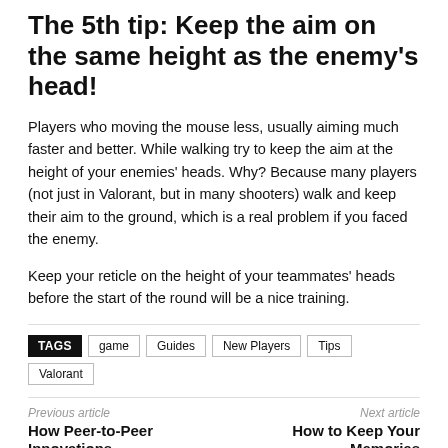The 5th tip: Keep the aim on the same height as the enemy's head!
Players who moving the mouse less, usually aiming much faster and better. While walking try to keep the aim at the height of your enemies' heads. Why? Because many players (not just in Valorant, but in many shooters) walk and keep their aim to the ground, which is a real problem if you faced the enemy.
Keep your reticle on the height of your teammates' heads before the start of the round will be a nice training.
TAGS  game  Guides  New Players  Tips  Valorant
Previous article
How Peer-to-Peer Innovations
Next article
How to Keep Your Memories